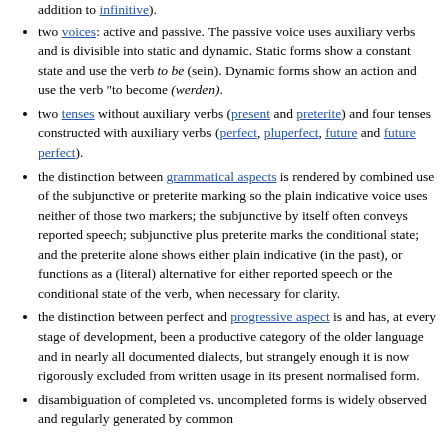three moods: indicative, imperative and subjunctive (in addition to infinitive).
two voices: active and passive. The passive voice uses auxiliary verbs and is divisible into static and dynamic. Static forms show a constant state and use the verb to be (sein). Dynamic forms show an action and use the verb "to become (werden).
two tenses without auxiliary verbs (present and preterite) and four tenses constructed with auxiliary verbs (perfect, pluperfect, future and future perfect).
the distinction between grammatical aspects is rendered by combined use of the subjunctive or preterite marking so the plain indicative voice uses neither of those two markers; the subjunctive by itself often conveys reported speech; subjunctive plus preterite marks the conditional state; and the preterite alone shows either plain indicative (in the past), or functions as a (literal) alternative for either reported speech or the conditional state of the verb, when necessary for clarity.
the distinction between perfect and progressive aspect is and has, at every stage of development, been a productive category of the older language and in nearly all documented dialects, but strangely enough it is now rigorously excluded from written usage in its present normalised form.
disambiguation of completed vs. uncompleted forms is widely observed and regularly generated by common